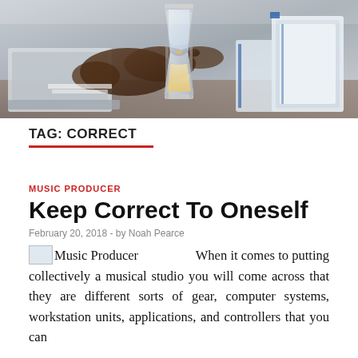[Figure (photo): Office scene with an hourglass, binders, papers, and a person's hands visible, in background]
TAG: CORRECT
MUSIC PRODUCER
Keep Correct To Oneself
February 20, 2018  -  by Noah Pearce
When it comes to putting collectively a musical studio you will come across that they are different sorts of gear, computer systems, workstation units, applications, and controllers that you can